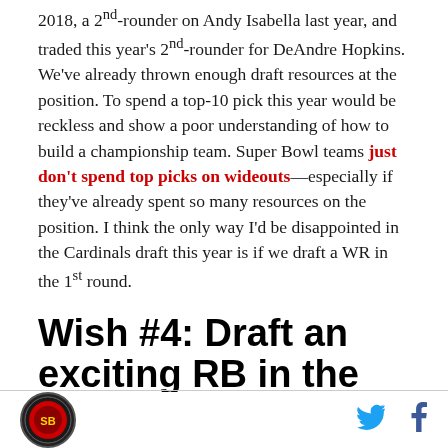2018, a 2nd-rounder on Andy Isabella last year, and traded this year's 2nd-rounder for DeAndre Hopkins. We've already thrown enough draft resources at the position. To spend a top-10 pick this year would be reckless and show a poor understanding of how to build a championship team. Super Bowl teams just don't spend top picks on wideouts—especially if they've already spent so many resources on the position. I think the only way I'd be disappointed in the Cardinals draft this year is if we draft a WR in the 1st round.
Wish #4: Draft an exciting RB in the middle rounds.
[Figure (logo): Circular sports team logo with red and gold colors]